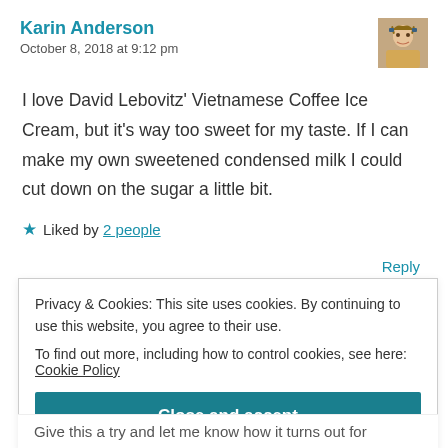Karin Anderson
October 8, 2018 at 9:12 pm
I love David Lebovitz' Vietnamese Coffee Ice Cream, but it's way too sweet for my taste. If I can make my own sweetened condensed milk I could cut down on the sugar a little bit.
★ Liked by 2 people
Reply
Privacy & Cookies: This site uses cookies. By continuing to use this website, you agree to their use.
To find out more, including how to control cookies, see here: Cookie Policy
Close and accept
Give this a try and let me know how it turns out for